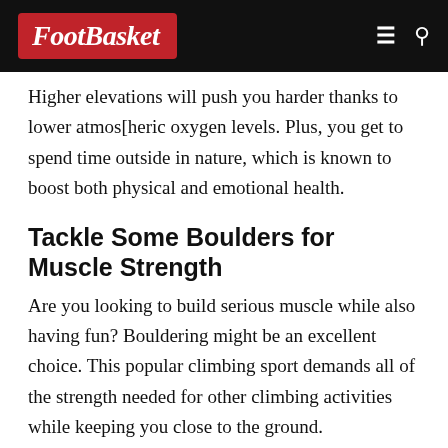FootBasket — navigation bar with logo, hamburger menu, and search icon
Higher elevations will push you harder thanks to lower atmos[heric oxygen levels. Plus, you get to spend time outside in nature, which is known to boost both physical and emotional health.
Tackle Some Boulders for Muscle Strength
Are you looking to build serious muscle while also having fun? Bouldering might be an excellent choice. This popular climbing sport demands all of the strength needed for other climbing activities while keeping you close to the ground.
That does not mean you don't have to follow some basic